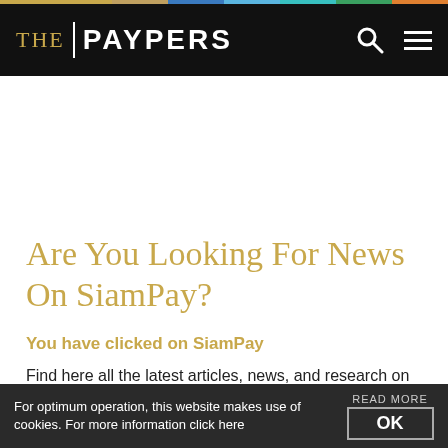THE PAYPERS
Are You Looking For News On SiamPay?
You have clicked on SiamPay
Find here all the latest articles, news, and research on SiamPay and other SiamPay-related topics:
For optimum operation, this website makes use of cookies. For more information click here